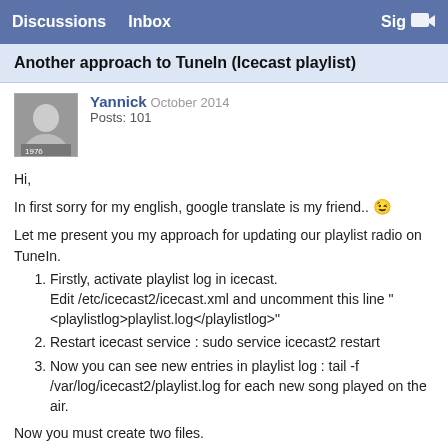Discussions  Inbox  Sign
Another approach to TuneIn (Icecast playlist)
Yannick  October 2014  Posts: 101
Hi,
In first sorry for my english, google translate is my friend.. 😉
Let me present you my approach for updating our playlist radio on TuneIn.
Firstly, activate playlist log in icecast. Edit /etc/icecast2/icecast.xml and uncomment this line "<playlistlog>playlist.log</playlistlog>"
Restart icecast service : sudo service icecast2 restart
Now you can see new entries in playlist log : tail -f /var/log/icecast2/playlist.log for each new song played on the air.
Now you must create two files.
One bash script for parsing new entries in playlist log :
#!/bin/bash
export LANG=fr_CA.UTF-8